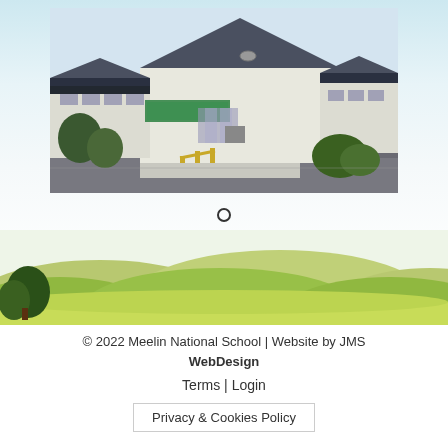[Figure (photo): Exterior photograph of Meelin National School building — a white single-storey building with dark slate roof, entrance with ramp, signage visible, trees and shrubs in foreground, car park area.]
[Figure (illustration): Decorative landscape illustration with rolling green hills, lighter yellow-green meadow in foreground, dark green tree on left, soft sky background.]
© 2022 Meelin National School | Website by JMS WebDesign
Terms | Login
Privacy & Cookies Policy